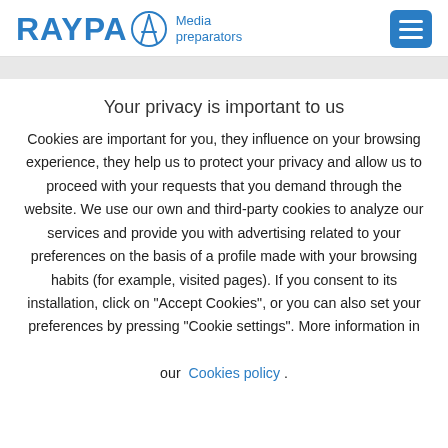RAYPA Media preparators
Your privacy is important to us
Cookies are important for you, they influence on your browsing experience, they help us to protect your privacy and allow us to proceed with your requests that you demand through the website. We use our own and third-party cookies to analyze our services and provide you with advertising related to your preferences on the basis of a profile made with your browsing habits (for example, visited pages). If you consent to its installation, click on "Accept Cookies", or you can also set your preferences by pressing "Cookie settings". More information in our Cookies policy .